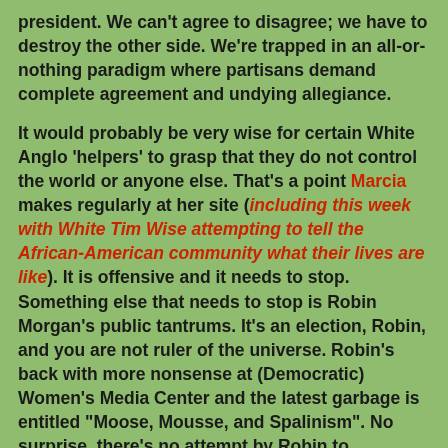president. We can't agree to disagree; we have to destroy the other side. We're trapped in an all-or-nothing paradigm where partisans demand complete agreement and undying allegiance.
It would probably be very wise for certain White Anglo 'helpers' to grasp that they do not control the world or anyone else. That's a point Marcia makes regularly at her site (including this week with White Tim Wise attempting to tell the African-American community what their lives are like). It is offensive and it needs to stop. Something else that needs to stop is Robin Morgan's public tantrums. It's an election, Robin, and you are not ruler of the universe. Robin's back with more nonsense at (Democratic) Women's Media Center and the latest garbage is entitled "Moose, Mousse, and Spalinism". No surprise, there's no attempt by Robin to apologize for her GROSS FACTUAL ERRORS (also known as LIES) in her previous writing on Palin. It's just more scattered, bitchy comments from a woman who truly should know better but apparently will bow and scrape before any man until her dying day. Wally and Cedric grabbed the previous crap from (Democratic) Women's Media Center this week [see their "Women's Media Center -- fact free for most of